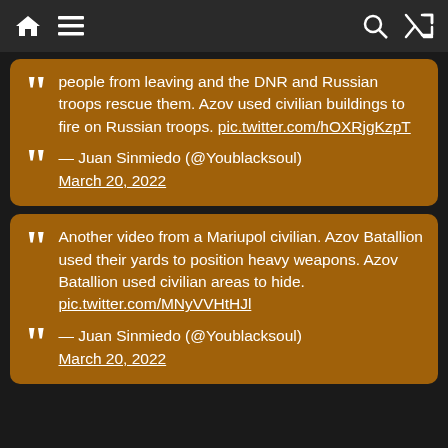Navigation bar with home, menu, search, and shuffle icons
people from leaving and the DNR and Russian troops rescue them. Azov used civilian buildings to fire on Russian troops. pic.twitter.com/hOXRjgKzpT
— Juan Sinmiedo (@Youblacksoul) March 20, 2022
Another video from a Mariupol civilian. Azov Batallion used their yards to position heavy weapons. Azov Batallion used civilian areas to hide. pic.twitter.com/MNyVVHtHJl
— Juan Sinmiedo (@Youblacksoul) March 20, 2022